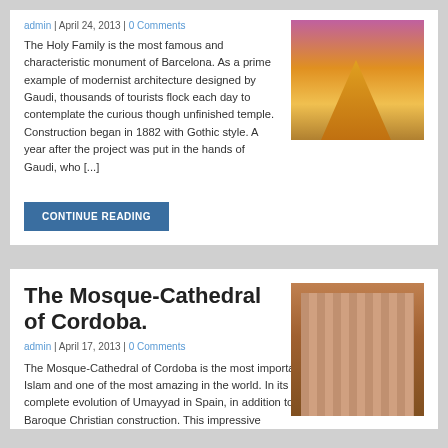admin | April 24, 2013 | 0 Comments
The Holy Family is the most famous and characteristic monument of Barcelona. As a prime example of modernist architecture designed by Gaudi, thousands of tourists flock each day to contemplate the curious though unfinished temple. Construction began in 1882 with Gothic style. A year after the project was put in the hands of Gaudi, who [...]
[Figure (photo): Photo of Sagrada Familia basilica illuminated at dusk with purple sky]
CONTINUE READING
The Mosque-Cathedral of Cordoba.
admin | April 17, 2013 | 0 Comments
The Mosque-Cathedral of Cordoba is the most important monument in western Islam and one of the most amazing in the world. In its history summarizes the complete evolution of Umayyad in Spain, in addition to Gothic, Renaissance and Baroque Christian construction. This impressive
[Figure (photo): Interior photo of the Mosque-Cathedral of Cordoba showing striped arches]